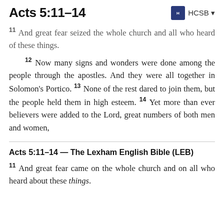Acts 5:11–14
11 And great fear seized the whole church and all who heard of these things.
12 Now many signs and wonders were done among the people through the apostles. And they were all together in Solomon's Portico. 13 None of the rest dared to join them, but the people held them in high esteem. 14 Yet more than ever believers were added to the Lord, great numbers of both men and women,
Acts 5:11–14 — The Lexham English Bible (LEB)
11 And great fear came on the whole church and on all who heard about these things.